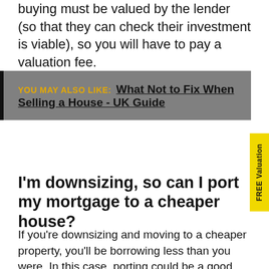buying must be valued by the lender (so that they can check their investment is viable), so you will have to pay a valuation fee.
YOU MAY ALSO LIKE: What Not to Fix When Selling a House - UK Guide
I'm downsizing, so can I port my mortgage to a cheaper house?
If you're downsizing and moving to a cheaper property, you'll be borrowing less than you were. In this case, porting could be a good